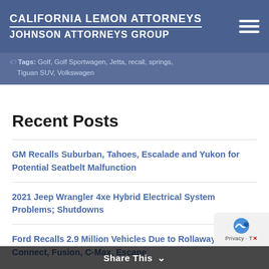CALIFORNIA LEMON ATTORNEYS JOHNSON ATTORNEYS GROUP
Tags: Golf, Golf Sportwagen, Jetta, recall, springs, Tiguan SUV, Volkswagen
Recent Posts
GM Recalls Suburban, Tahoes, Escalade and Yukon for Potential Seatbelt Malfunction
2021 Jeep Wrangler 4xe Hybrid Electrical System Problems; Shutdowns
Ford Recalls 2.9 Million Vehicles Due to Rollaway Risk: T Connect, Fusion, C-Max, Escape
Share This